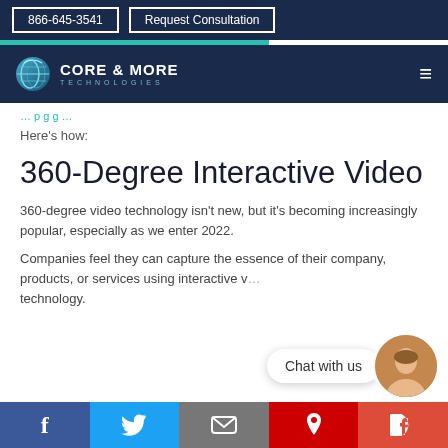866-645-3541 | Request Consultation
[Figure (logo): Core & More Technologies logo with globe icon]
Here's how:
360-Degree Interactive Video
360-degree video technology isn't new, but it's becoming increasingly popular, especially as we enter 2022.
Companies feel they can capture the essence of their company, products, or services using interactive video technology.
[Figure (illustration): Chat with us widget with female avatar photo]